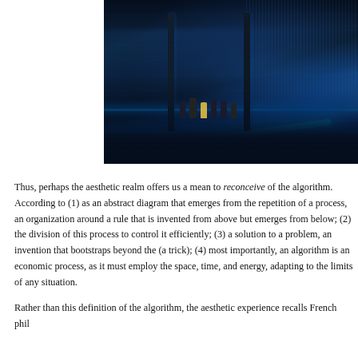[Figure (photo): Interior of a large immersive digital art installation or futuristic exhibition hall. The space features tall architectural columns, glowing electric-blue neon light strips along the floor and walls, reflective surfaces, and visitors silhouetted against the luminous environment. The walls and ceiling are covered with dense grid-like patterns of light. The overall palette is dark blue and black with brilliant cyan and blue accents.]
Thus, perhaps the aesthetic realm offers us a mean to reconceive of the algorithm. According to (1) as an abstract diagram that emerges from the repetition of a process, an organization around a rule that is invented from above but emerges from below; (2) the division of this process to control it efficiently; (3) a solution to a problem, an invention that bootstraps beyond the (a trick); (4) most importantly, an algorithm is an economic process, as it must employ the space, time, and energy, adapting to the limits of any situation.
Rather than this definition of the algorithm, the aesthetic experience recalls French phil...